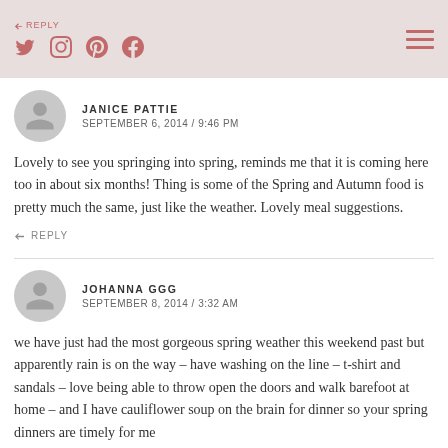REPLY — social icons (Twitter, Instagram, Pinterest, Facebook) and hamburger menu
JANICE PATTIE
SEPTEMBER 6, 2014 / 9:46 PM
Lovely to see you springing into spring, reminds me that it is coming here too in about six months! Thing is some of the Spring and Autumn food is pretty much the same, just like the weather. Lovely meal suggestions.
REPLY
JOHANNA GGG
SEPTEMBER 8, 2014 / 3:32 AM
we have just had the most gorgeous spring weather this weekend past but apparently rain is on the way – have washing on the line – t-shirt and sandals – love being able to throw open the doors and walk barefoot at home – and I have cauliflower soup on the brain for dinner so your spring dinners are timely for me